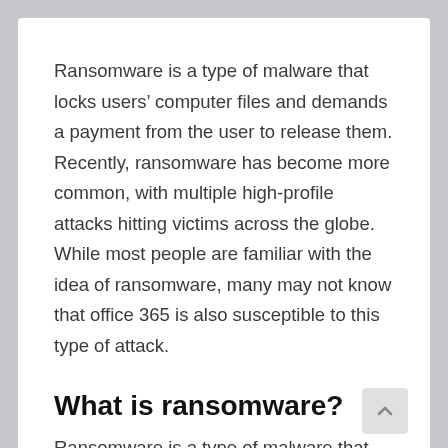Ransomware is a type of malware that locks users' computer files and demands a payment from the user to release them. Recently, ransomware has become more common, with multiple high-profile attacks hitting victims across the globe. While most people are familiar with the idea of ransomware, many may not know that office 365 is also susceptible to this type of attack.
What is ransomware?
Ransomware is a type of malware that encrypts...